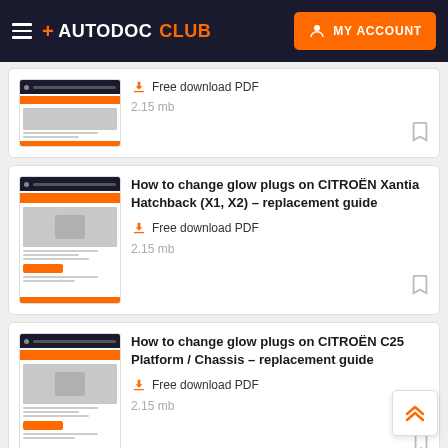+ AUTODOC CLUB   MY ACCOUNT
[Figure (screenshot): Partial card at top: thumbnail of a PDF guide page with orange bar, Free download PDF link, 2.15 mb file size, bookmark icon]
How to change glow plugs on CITROËN Xantia Hatchback (X1, X2) – replacement guide
Free download PDF
2.15 mb
How to change glow plugs on CITROËN C25 Platform / Chassis – replacement guide
Free download PDF
2.15 mb